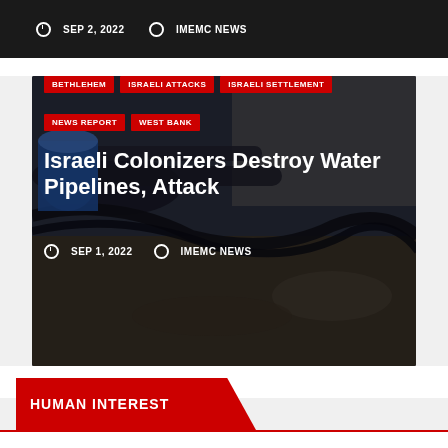SEP 2, 2022  IMEMC NEWS
[Figure (photo): Photo of destroyed water pipelines and equipment on rocky ground]
BETHLEHEM  ISRAELI ATTACKS  ISRAELI SETTLEMENT  NEWS REPORT  WEST BANK
Israeli Colonizers Destroy Water Pipelines, Attack
SEP 1, 2022  IMEMC NEWS
HUMAN INTEREST